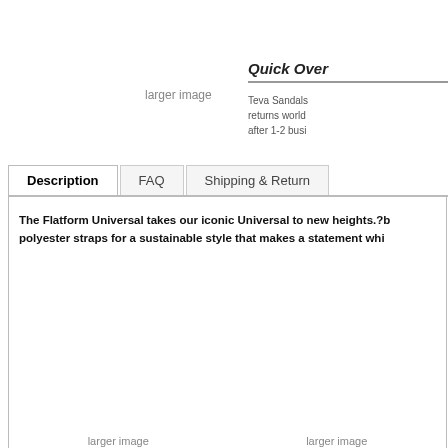larger image
Quick Over
Teva Sandals returns world after 1-2 busi
Description
FAQ
Shipping & Return
The Flatform Universal takes our iconic Universal to new heights.?b polyester straps for a sustainable style that makes a statement whi
larger image
larger image